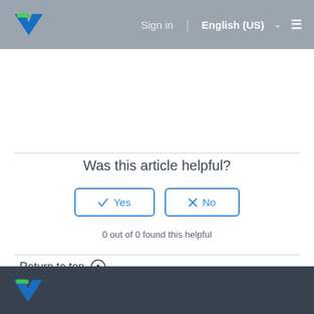Sign in | English (US)
Was this article helpful?
Yes
No
0 out of 0 found this helpful
Return to top